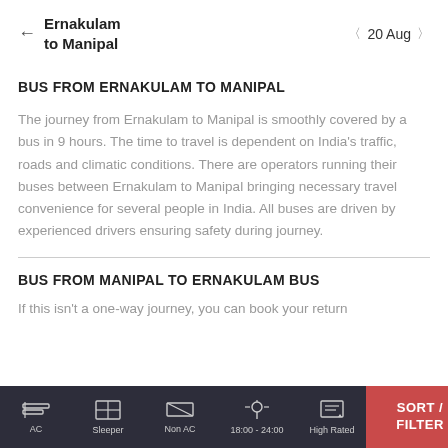Ernakulam to Manipal  ←  20 Aug  ›
BUS FROM ERNAKULAM TO MANIPAL
The journey from Ernakulam to Manipal is smoothly covered by a bus in 9 hours. The time to travel is dependent on India's traffic, roads and climatic conditions. There are operators running their buses between Ernakulam to Manipal bringing necessary travel convenience for several people in India. All buses are driven by experienced drivers ensuring safety during journey.
BUS FROM MANIPAL TO ERNAKULAM BUS
If this isn't a one-way journey, you can book your return
AC  Sleeper  Non AC  18:00 - 24:00  High Rated  SORT / FILTER